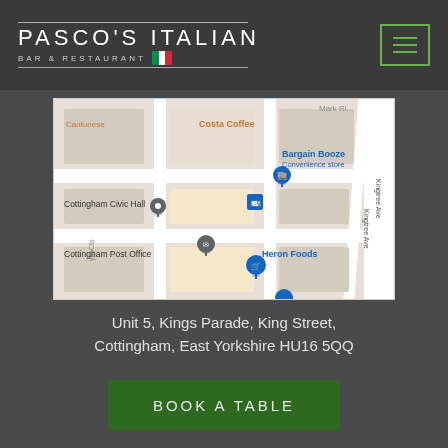PASCO'S ITALIAN BAR & RESTAURANT
[Figure (map): Google Maps screenshot showing Cottingham town centre area including Cottingham Civic Hall, Cottingham Post Office, Bargain Booze Convenience store, Costa Coffee, Cantonese restaurant, and Heron Foods.]
Unit 5, Kings Parade, King Street, Cottingham, East Yorkshire HU16 5QQ
BOOK A TABLE